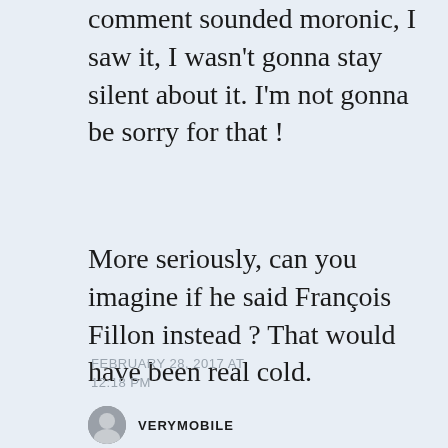comment sounded moronic, I saw it, I wasn't gonna stay silent about it. I'm not gonna be sorry for that !
More seriously, can you imagine if he said François Fillon instead ? That would have been real cold.
FEBRUARY 28, 2017 AT 12:18 PM
VERYMOBILE